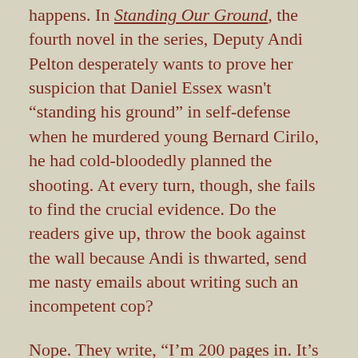happens. In Standing Our Ground, the fourth novel in the series, Deputy Andi Pelton desperately wants to prove her suspicion that Daniel Essex wasn't "standing his ground" in self-defense when he murdered young Bernard Cirilo, he had cold-bloodedly planned the shooting. At every turn, though, she fails to find the crucial evidence. Do the readers give up, throw the book against the wall because Andi is thwarted, send me nasty emails about writing such an incompetent cop?
Nope. They write, "I'm 200 pages in. It's a page-turner!"
[Figure (photo): Book cover of 'Standing Our Ground', Book Four of the Missionary Valley Series, featuring the title in large cream/gold letters on a dark red background.]